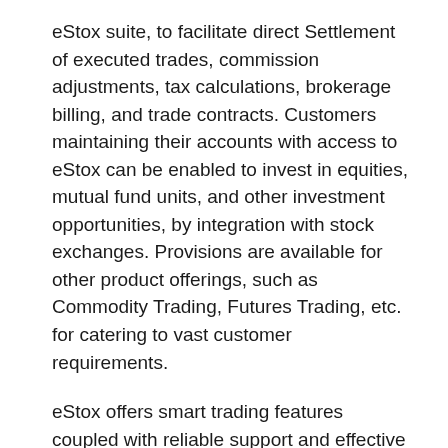eStox suite, to facilitate direct Settlement of executed trades, commission adjustments, tax calculations, brokerage billing, and trade contracts. Customers maintaining their accounts with access to eStox can be enabled to invest in equities, mutual fund units, and other investment opportunities, by integration with stock exchanges. Provisions are available for other product offerings, such as Commodity Trading, Futures Trading, etc. for catering to vast customer requirements.
eStox offers smart trading features coupled with reliable support and effective market statistics and research using state-of-the-art technology. eStox is built upon market driven challenges, value addition and years of customer confidence.